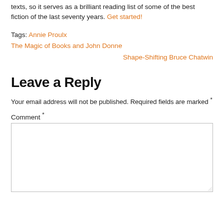texts, so it serves as a brilliant reading list of some of the best fiction of the last seventy years. Get started!
Tags: Annie Proulx
The Magic of Books and John Donne
Shape-Shifting Bruce Chatwin
Leave a Reply
Your email address will not be published. Required fields are marked *
Comment *